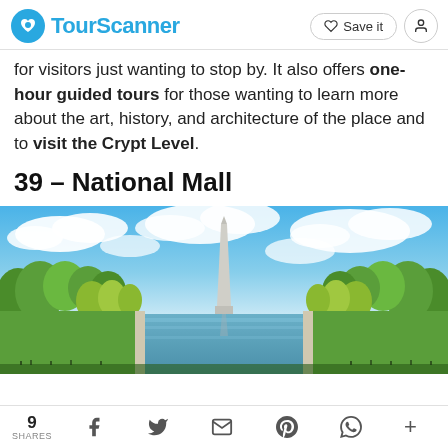TourScanner  ♡ Save it  👤
for visitors just wanting to stop by. It also offers one-hour guided tours for those wanting to learn more about the art, history, and architecture of the place and to visit the Crypt Level.
39 – National Mall
[Figure (photo): Wide panoramic photo of the National Mall in Washington D.C. showing the Washington Monument in the center background, the Reflecting Pool in the foreground, green trees lining both sides, blue sky with white clouds.]
9 SHARES  f  Twitter  Email  Pinterest  WhatsApp  +